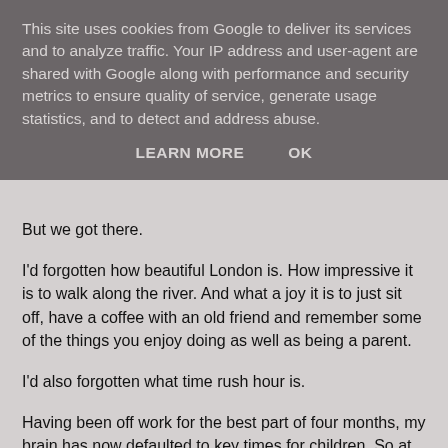This site uses cookies from Google to deliver its services and to analyze traffic. Your IP address and user-agent are shared with Google along with performance and security metrics to ensure quality of service, generate usage statistics, and to detect and address abuse.
LEARN MORE   OK
But we got there.
I'd forgotten how beautiful London is. How impressive it is to walk along the river. And what a joy it is to just sit off, have a coffee with an old friend and remember some of the things you enjoy doing as well as being a parent.
I'd also forgotten what time rush hour is.
Having been off work for the best part of four months, my brain has now defaulted to key times for children. So at 5.30pm I said my goodbyes, doing the maths that if I caught the 5.40 from Blackfriars I would be home in time for my daughter's bath.